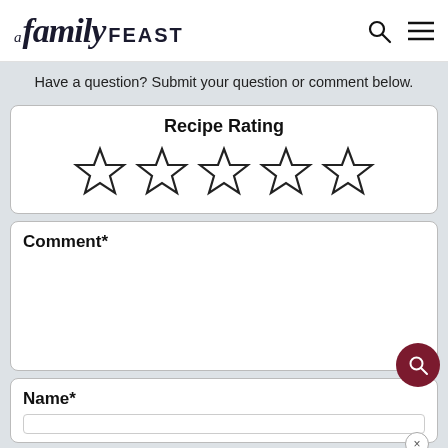A Family FEAST
Have a question? Submit your question or comment below.
[Figure (other): Recipe Rating section with 5 empty star icons for rating selection]
Comment*
Name*